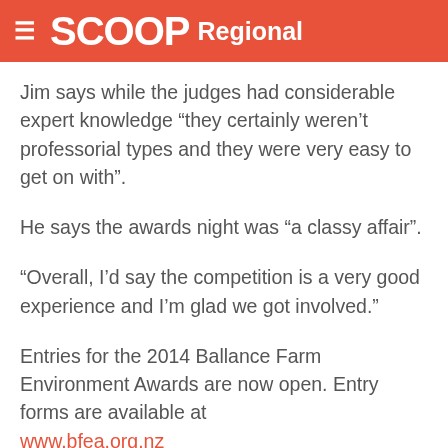SCOOP Regional
Jim says while the judges had considerable expert knowledge “they certainly weren’t professorial types and they were very easy to get on with”.
He says the awards night was “a classy affair”.
“Overall, I’d say the competition is a very good experience and I’m glad we got involved.”
Entries for the 2014 Ballance Farm Environment Awards are now open. Entry forms are available at www.bfea.org.nz
More information on the 2014 Ballance Farm